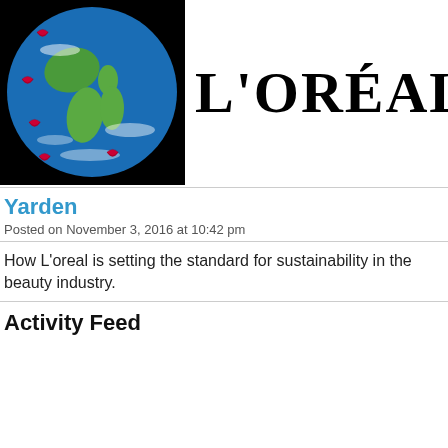[Figure (illustration): Globe of Earth on black background with red lipstick kiss marks overlaid at various positions]
[Figure (logo): L'ORÉAL brand logo in large bold serif text]
Yarden
Posted on November 3, 2016 at 10:42 pm
How L'oreal is setting the standard for sustainability in the beauty industry.
Activity Feed